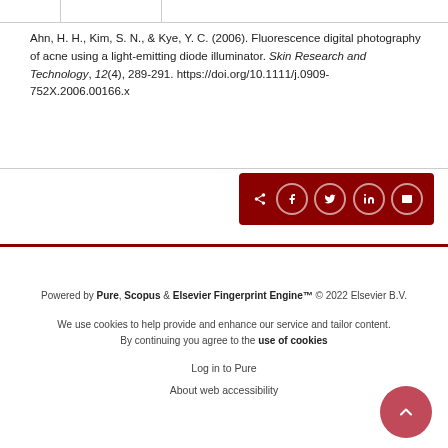Ahn, H. H., Kim, S. N., & Kye, Y. C. (2006). Fluorescence digital photography of acne using a light-emitting diode illuminator. Skin Research and Technology, 12(4), 289-291. https://doi.org/10.1111/j.0909-752X.2006.00166.x
[Figure (other): Share bar with social media icons: share, Facebook, Twitter, LinkedIn, email on dark red background]
Powered by Pure, Scopus & Elsevier Fingerprint Engine™ © 2022 Elsevier B.V.
We use cookies to help provide and enhance our service and tailor content. By continuing you agree to the use of cookies
Log in to Pure
About web accessibility